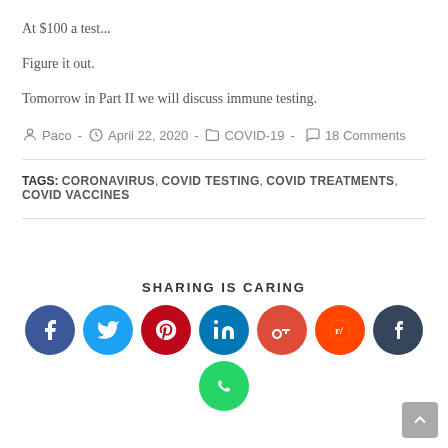At $100 a test...
Figure it out.
Tomorrow in Part II we will discuss immune testing.
Paco  -  April 22, 2020  -  COVID-19  -  18 Comments
TAGS: CORONAVIRUS , COVID TESTING , COVID TREATMENTS , COVID VACCINES
SHARING IS CARING